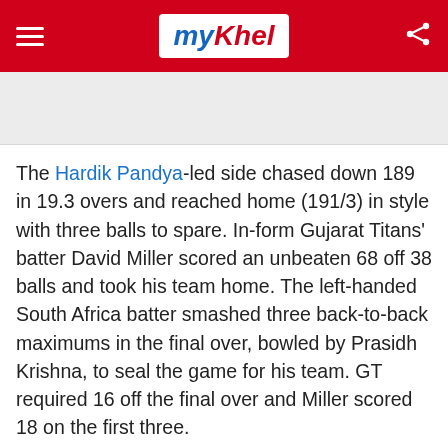myKhel (logo)
[Figure (other): Gray advertisement banner placeholder at top]
The Hardik Pandya-led side chased down 189 in 19.3 overs and reached home (191/3) in style with three balls to spare. In-form Gujarat Titans' batter David Miller scored an unbeaten 68 off 38 balls and took his team home. The left-handed South Africa batter smashed three back-to-back maximums in the final over, bowled by Prasidh Krishna, to seal the game for his team. GT required 16 off the final over and Miller scored 18 on the first three.
Advertisement
Sponsored Links by Taboola